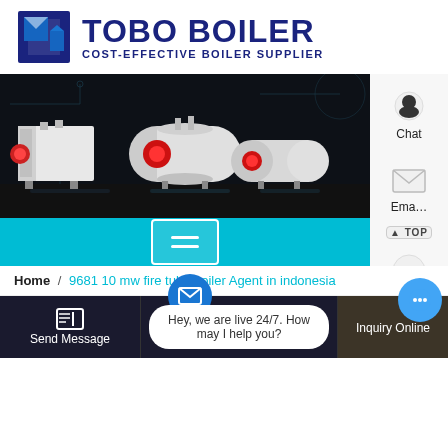[Figure (logo): TOBO BOILER logo with dark blue icon and text reading TOBO BOILER / COST-EFFECTIVE BOILER SUPPLIER]
[Figure (photo): Dark industrial background showing three industrial fire tube boilers arranged side by side]
[Figure (screenshot): Teal navigation bar with hamburger menu button and side panel showing Chat, Email, Contact buttons]
Home / 9681 10 mw fire tube boiler Agent in indonesia
Send Message
Hey, we are live 24/7. How may I help you?
Inquiry Online